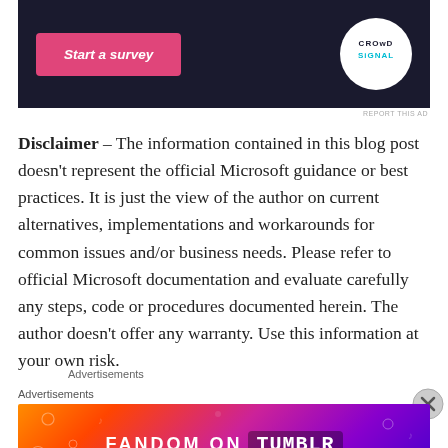[Figure (screenshot): Dark navy banner ad with pink 'Start a survey' button on the left and Crowdsignal circular logo on the right]
REPORT THIS AD
Disclaimer – The information contained in this blog post doesn't represent the official Microsoft guidance or best practices. It is just the view of the author on current alternatives, implementations and workarounds for common issues and/or business needs. Please refer to official Microsoft documentation and evaluate carefully any steps, code or procedures documented herein. The author doesn't offer any warranty. Use this information at your own risk.
Advertisements
Advertisements
[Figure (screenshot): Colorful gradient advertisement banner reading 'FANDOM ON tumblr' with illustrated doodles on orange-to-purple background]